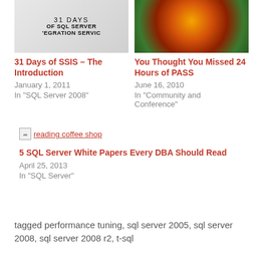[Figure (screenshot): Book cover image for '31 Days of SQL Server Integration Services']
31 Days of SSIS – The Introduction
January 1, 2011
In "SQL Server 2008"
[Figure (photo): Orange and red glowing food/dish photo for 'You Thought You Missed 24 Hours of PASS']
You Thought You Missed 24 Hours of PASS
June 16, 2010
In "Community and Conference"
[Figure (photo): Broken image placeholder labeled 'reading coffee shop']
5 SQL Server White Papers Every DBA Should Read
April 25, 2013
In "SQL Server"
tagged performance tuning, sql server 2005, sql server 2008, sql server 2008 r2, t-sql